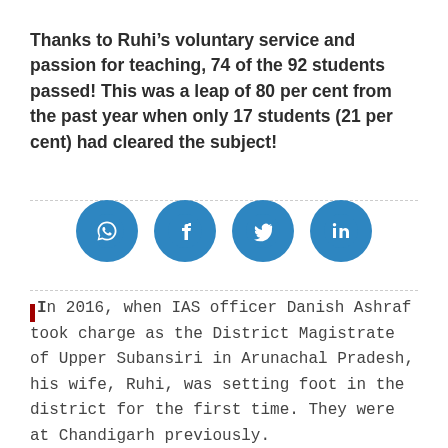Thanks to Ruhi's voluntary service and passion for teaching, 74 of the 92 students passed! This was a leap of 80 per cent from the past year when only 17 students (21 per cent) had cleared the subject!
[Figure (infographic): Four circular social media share buttons: WhatsApp, Facebook, Twitter, LinkedIn — all in blue circles with white icons.]
In 2016, when IAS officer Danish Ashraf took charge as the District Magistrate of Upper Subansiri in Arunachal Pradesh, his wife, Ruhi, was setting foot in the district for the first time. They were at Chandigarh previously.